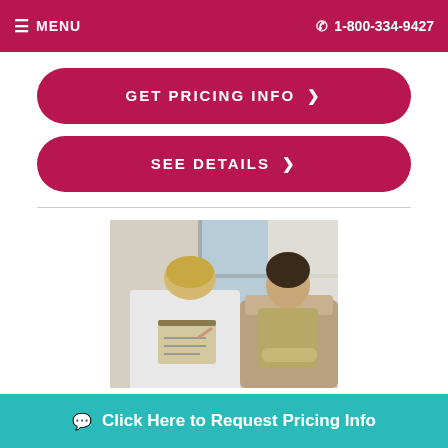≡ MENU   📞 1-800-334-9427
GET PRICING INFO ❯
SEE DETAILS ❯
[Figure (photo): A healthcare worker in white coat writing on a clipboard while consulting with an elderly woman seated in a chair]
Foundation Surgical Hospital
7...
Click Here to Request Pricing Info